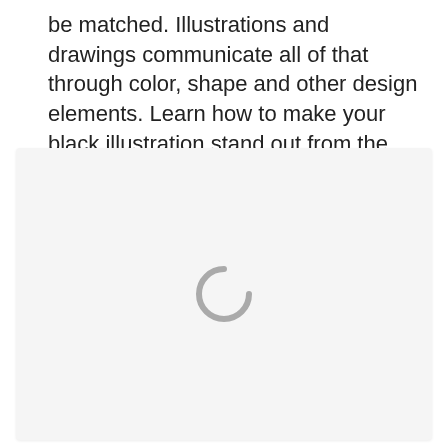be matched. Illustrations and drawings communicate all of that through color, shape and other design elements. Learn how to make your black illustration stand out from the crowd.
[Figure (other): A loading spinner icon (partial circle/arc) displayed in light gray on a light gray background, indicating an image or content that is still loading.]